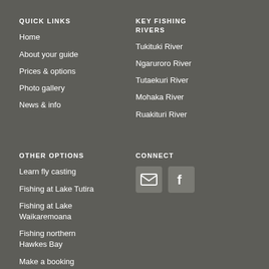QUICK LINKS
Home
About your guide
Prices & options
Photo gallery
News & info
KEY FISHING RIVERS
Tukituki River
Ngaruroro River
Tutaekuri River
Mohaka River
Ruakituri River
OTHER OPTIONS
Learn fly casting
Fishing at Lake Tutira
Fishing at Lake Waikaremoana
Fishing northern Hawkes Bay
Make a booking
CONNECT
[Figure (illustration): Email icon and Facebook icon in grey rounded square boxes]